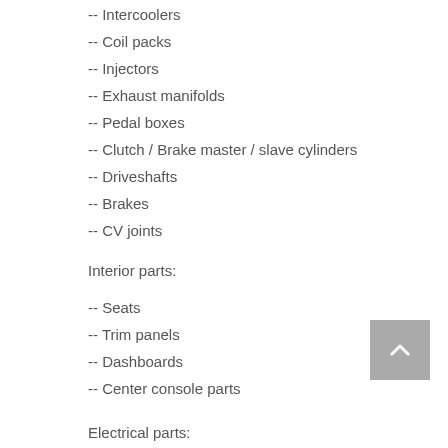-- Intercoolers
-- Coil packs
-- Injectors
-- Exhaust manifolds
-- Pedal boxes
-- Clutch / Brake master / slave cylinders
-- Driveshafts
-- Brakes
-- CV joints
Interior parts:
-- Seats
-- Trim panels
-- Dashboards
-- Center console parts
Electrical parts: